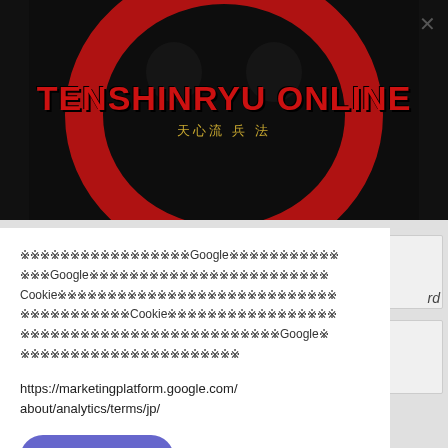[Figure (logo): TENSHINRYU ONLINE logo on black background with red brushstroke circle and gold Japanese characters]
※※※※※※※※※※※※※※※※※Googleサービスの利用について
※※※Google※※※※※※※※※※※※※※※※※※※※※※※※
Cookie※※※※※※※※※※※※※※※※※※※※※※※※※※※※
※※※※※※※※※※※Cookie※※※※※※※※※※※※※※※※※
※※※※※※※※※※※※※※※※※※※※※※※※※※Google※
※※※※※※※※※※※※※※※※※※※※※※
https://marketingplatform.google.com/about/analytics/terms/jp/
同意して続ける